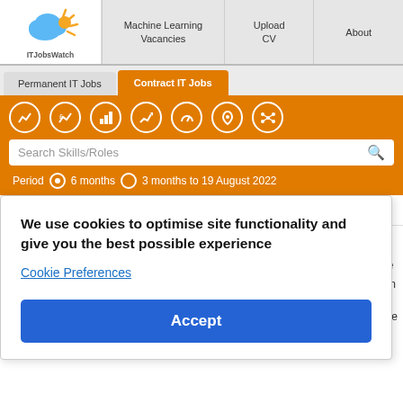[Figure (logo): ITJobsWatch logo with cloud and sun graphic]
Machine Learning Vacancies | Upload CV | About
Permanent IT Jobs | Contract IT Jobs
[Figure (infographic): Orange toolbar with 7 circular icon buttons for charts and location]
Search Skills/Roles
Period  6 months  3 months to 19 August 2022
We use cookies to optimise site functionality and give you the best possible experience
Cookie Preferences
Accept
Machine Learning